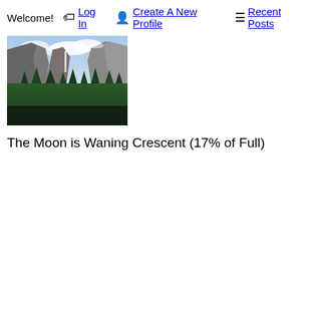Welcome! 🏷 Log In 👤 Create A New Profile ☰ Recent Posts
[Figure (photo): Landscape photograph of a mountain valley, resembling Yosemite Valley, with granite cliffs, a waterfall, evergreen forest in the foreground, and a partly cloudy sky.]
The Moon is Waning Crescent (17% of Full)